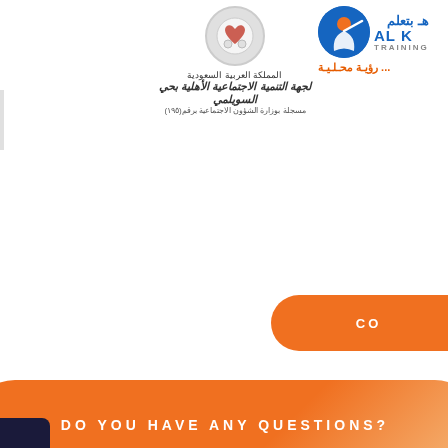[Figure (logo): Left organization logo — circular emblem with heart/hands motif, with Arabic text: المملكة العربية السعودية, stylized Arabic calligraphy title, and مسجلة بوزارة الشؤون الاجتماعية برقم(١٩٥)]
[Figure (logo): AL K Training logo — blue circle with figure/swoosh, Arabic text بتعلم هـ and AL K TRAINING in blue, with Arabic slogan رؤية محلية in orange]
CO
OUR SERV
DO YOU HAVE ANY QUESTIONS?